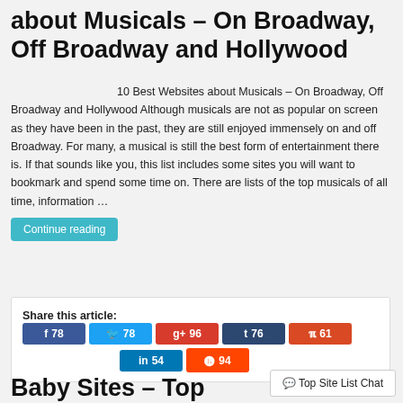about Musicals – On Broadway, Off Broadway and Hollywood
10 Best Websites about Musicals – On Broadway, Off Broadway and Hollywood Although musicals are not as popular on screen as they have been in the past, they are still enjoyed immensely on and off Broadway. For many, a musical is still the best form of entertainment there is. If that sounds like you, this list includes some sites you will want to bookmark and spend some time on. There are lists of the top musicals of all time, information …
Continue reading
Share this article: f 78  78  96  76  61  in 54  94
Top Site List Chat
Baby Sites – Top